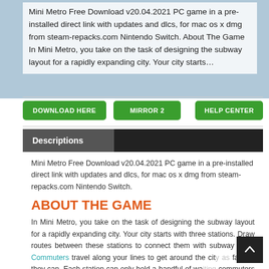Mini Metro Free Download v20.04.2021 PC game in a pre-installed direct link with updates and dlcs, for mac os x dmg from steam-repacks.com Nintendo Switch. About The Game In Mini Metro, you take on the task of designing the subway layout for a rapidly expanding city. Your city starts…
DOWNLOAD HERE | MIRROR 2 | HELP CENTER
Descriptions
Mini Metro Free Download v20.04.2021 PC game in a pre-installed direct link with updates and dlcs, for mac os x dmg from steam-repacks.com Nintendo Switch.
ABOUT THE GAME
In Mini Metro, you take on the task of designing the subway layout for a rapidly expanding city. Your city starts with three stations. Draw routes between these stations to connect them with subway lines. Commuters travel along your lines to get around the city as fast as they can. Each station can only hold a handful of waiting commuters so your subway network will need to be well-designed…